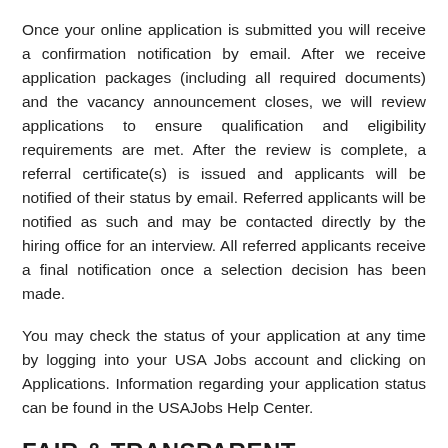Once your online application is submitted you will receive a confirmation notification by email. After we receive application packages (including all required documents) and the vacancy announcement closes, we will review applications to ensure qualification and eligibility requirements are met. After the review is complete, a referral certificate(s) is issued and applicants will be notified of their status by email. Referred applicants will be notified as such and may be contacted directly by the hiring office for an interview. All referred applicants receive a final notification once a selection decision has been made.
You may check the status of your application at any time by logging into your USA Jobs account and clicking on Applications. Information regarding your application status can be found in the USAJobs Help Center.
FAIR & TRANSPARENT
The Federal hiring process is set up for...